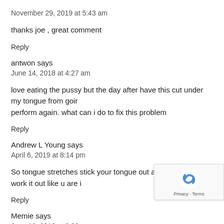November 29, 2019 at 5:43 am
thanks joe , great comment
Reply
antwon says
June 14, 2018 at 4:27 am
love eating the pussy but the day after have this cut under my tongue from goin perform again. what can i do to fix this problem
Reply
Andrew L Young says
April 6, 2019 at 8:14 pm
So tongue stretches stick your tongue out as far as u can work it out like u are i
Reply
Memie says
June 16, 2019 at 6:39 pm
This used to happen to me all of the time. It comes from trying to use the tongu